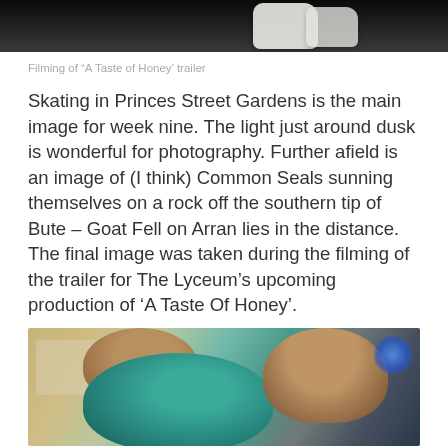[Figure (photo): Top portion of a photo showing a dark indoor scene with white gloves or props visible against a dark background]
Filming of “A Taste of Honey’ trailer
Skating in Princes Street Gardens is the main image for week nine. The light just around dusk is wonderful for photography. Further afield is an image of (I think) Common Seals sunning themselves on a rock off the southern tip of Bute – Goat Fell on Arran lies in the distance. The final image was taken during the filming of the trailer for The Lyceum’s upcoming production of ‘A Taste Of Honey’.
[Figure (photo): Photo of a person wearing a teal/green hoodie in the foreground, with another person visible in the background, taken in an indoor setting with colorful blurred lights]